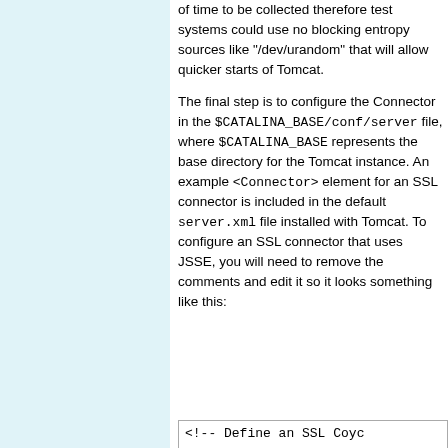of time to be collected therefore test systems could use no blocking entropy sources like "/dev/urandom" that will allow quicker starts of Tomcat.

The final step is to configure the Connector in the $CATALINA_BASE/conf/server file, where $CATALINA_BASE represents the base directory for the Tomcat instance. An example <Connector> element for an SSL connector is included in the default server.xml file installed with Tomcat. To configure an SSL connector that uses JSSE, you will need to remove the comments and edit it so it looks something like this:
<!-- Define an SSL Coyc